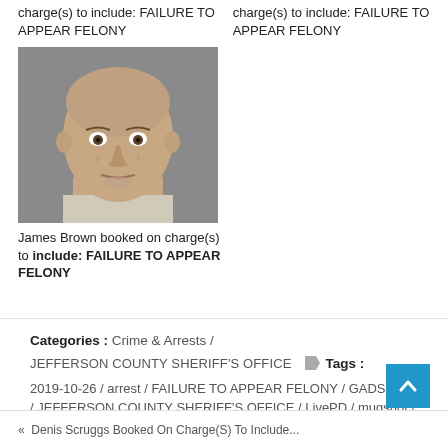charge(s) to include: FAILURE TO APPEAR FELONY
charge(s) to include: FAILURE TO APPEAR FELONY
[Figure (photo): Mugshot photo of James Brown, a middle-aged bald man]
James Brown booked on charge(s) to include: FAILURE TO APPEAR FELONY
Categories : Crime & Arrests /
JEFFERSON COUNTY SHERIFF'S OFFICE    Tags : 2019-10-26 / arrest / FAILURE TO APPEAR FELONY / GADSDEN / JEFFERSON COUNTY SHERIFF'S OFFICE / LivePD / mugshot / Paul Bowen
« Denis Scruggs Booked On Charge(S) To Include...